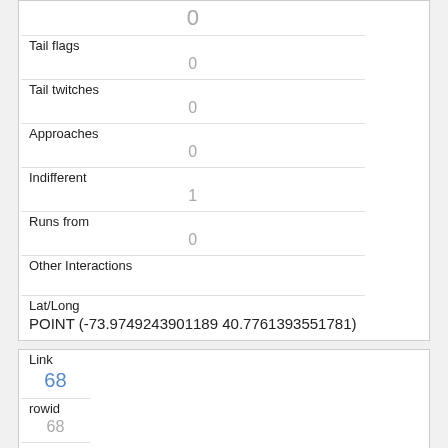|  | 0 |
| Tail flags | 0 |
| Tail twitches | 0 |
| Approaches | 0 |
| Indifferent | 1 |
| Runs from | 0 |
| Other Interactions |  |
| Lat/Long | POINT (-73.9749243901189 40.7761393551781) |
| Link | 68 |
| rowid | 68 |
| longitude |  |